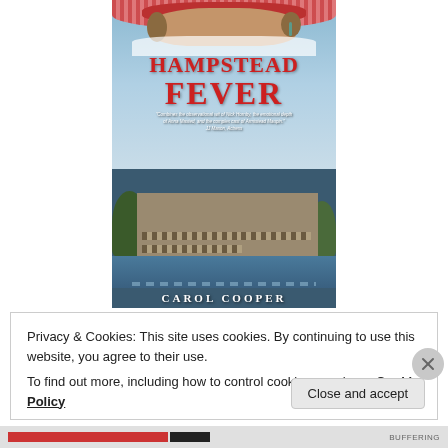[Figure (illustration): Book cover for 'Hampstead Fever' by Carol Cooper. Shows a woman wearing a red hat at the top, large red title text 'Hampstead Fever', a quote in white italic text, a background scene of Victorian buildings reflected in a pond/lake with trees, and the author name 'Carol Cooper' in white at the bottom.]
Privacy & Cookies: This site uses cookies. By continuing to use this website, you agree to their use.
To find out more, including how to control cookies, see here: Cookie Policy
Close and accept